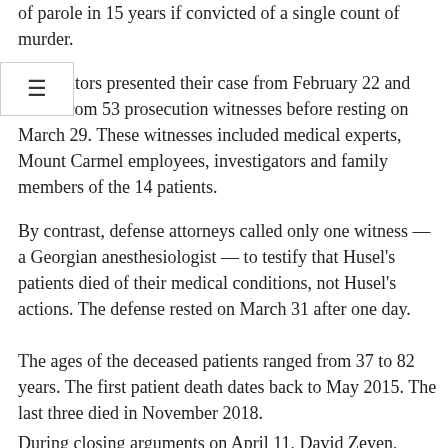of parole in 15 years if convicted of a single count of murder.
Prosecutors presented their case from February 22 and heard from 53 prosecution witnesses before resting on March 29. These witnesses included medical experts, Mount Carmel employees, investigators and family members of the 14 patients.
By contrast, defense attorneys called only one witness — a Georgian anesthesiologist — to testify that Husel's patients died of their medical conditions, not Husel's actions. The defense rested on March 31 after one day.
The ages of the deceased patients ranged from 37 to 82 years. The first patient death dates back to May 2015. The last three died in November 2018.
During closing arguments on April 11, David Zeyen, assistant Franklin County prosecutor, told jurors that no matter how close a patient is to death, it is illegal to speed up the process.